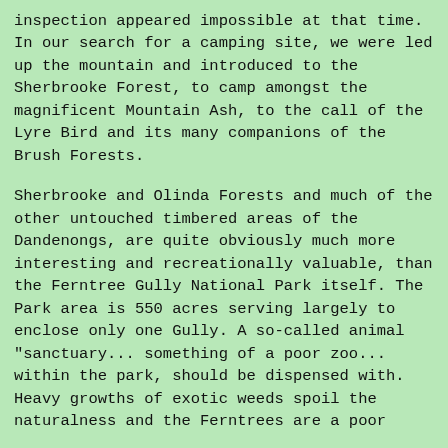inspection appeared impossible at that time. In our search for a camping site, we were led up the mountain and introduced to the Sherbrooke Forest, to camp amongst the magnificent Mountain Ash, to the call of the Lyre Bird and its many companions of the Brush Forests.
Sherbrooke and Olinda Forests and much of the other untouched timbered areas of the Dandenongs, are quite obviously much more interesting and recreationally valuable, than the Ferntree Gully National Park itself. The Park area is 550 acres serving largely to enclose only one Gully. A so-called animal "sanctuary... something of a poor zoo... within the park, should be dispensed with. Heavy growths of exotic weeds spoil the naturalness and the Ferntrees are a poor